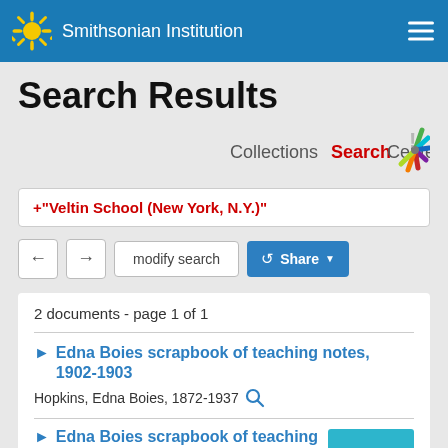Smithsonian Institution
Search Results
[Figure (logo): Collections Search Center logo with colorful sunburst/starburst design on the right]
+"Veltin School (New York, N.Y.)"
← → modify search  Share
2 documents - page 1 of 1
Edna Boies scrapbook of teaching notes, 1902-1903
Hopkins, Edna Boies, 1872-1937
Edna Boies scrapbook of teaching notes
Online